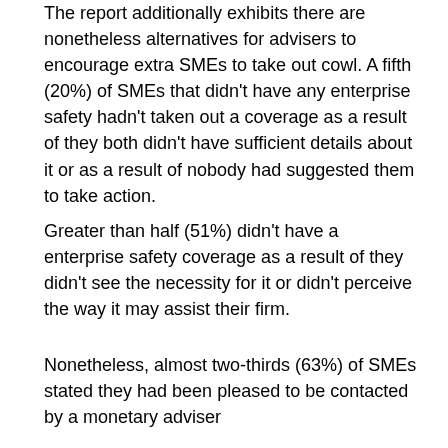The report additionally exhibits there are nonetheless alternatives for advisers to encourage extra SMEs to take out cowl. A fifth (20%) of SMEs that didn't have any enterprise safety hadn't taken out a coverage as a result of they both didn't have sufficient details about it or as a result of nobody had suggested them to take action.
Greater than half (51%) didn't have a enterprise safety coverage as a result of they didn't see the necessity for it or didn't perceive the way it may assist their firm.
Nonetheless, almost two-thirds (63%) of SMEs stated they had been pleased to be contacted by a monetary adviser